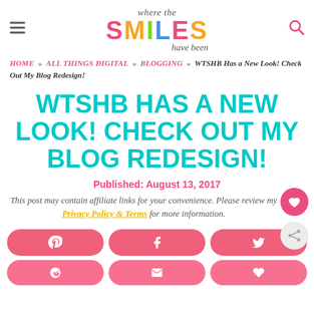Where the Smiles Have Been — blog header with logo and navigation icons
HOME » ALL THINGS DIGITAL » BLOGGING » WTSHB Has a New Look! Check Out My Blog Redesign!
WTSHB HAS A NEW LOOK! CHECK OUT MY BLOG REDESIGN!
Published: August 13, 2017
This post may contain affiliate links for your convenience. Please review my Privacy Policy & Terms for more information.
[Figure (other): Social share buttons row: Pinterest, Facebook, Twitter icons on pink pill-shaped buttons]
[Figure (other): Second row of social share buttons: Reddit, Email, Heart/Save icons on pink pill-shaped buttons (partially visible)]